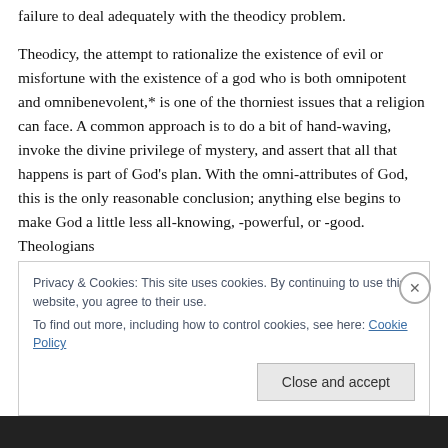failure to deal adequately with the theodicy problem.
Theodicy, the attempt to rationalize the existence of evil or misfortune with the existence of a god who is both omnipotent and omnibenevolent,* is one of the thorniest issues that a religion can face. A common approach is to do a bit of hand-waving, invoke the divine privilege of mystery, and assert that all that happens is part of God’s plan. With the omni-attributes of God, this is the only reasonable conclusion; anything else begins to make God a little less all-knowing, -powerful, or -good. Theologians
Privacy & Cookies: This site uses cookies. By continuing to use this website, you agree to their use.
To find out more, including how to control cookies, see here: Cookie Policy
Close and accept